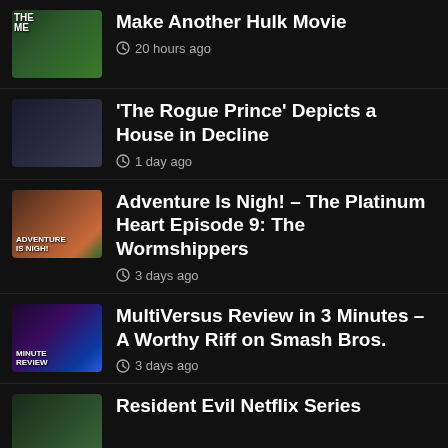Make Another Hulk Movie · 20 hours ago
'The Rogue Prince' Depicts a House in Decline · 1 day ago
Adventure Is Nigh! – The Platinum Heart Episode 9: The Wormshippers · 3 days ago
MultiVersus Review in 3 Minutes – A Worthy Riff on Smash Bros. · 3 days ago
Resident Evil Netflix Series